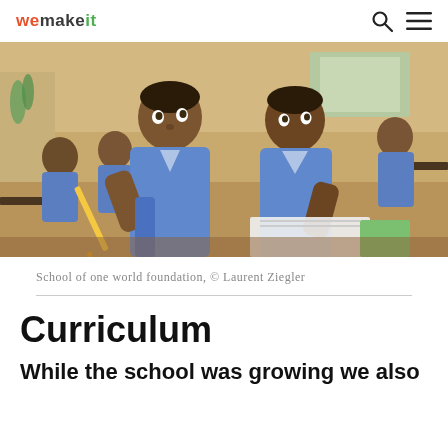wemakeit
[Figure (photo): Children in blue school uniforms sitting at desks in a classroom, holding pencils and looking attentively upward. Multiple students visible, classroom setting with colorful wall decorations.]
School of one world foundation, © Laurent Ziegler
Curriculum
While the school was growing we also